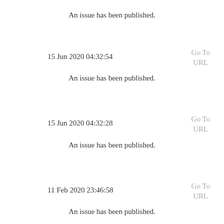An issue has been published.
15 Jun 2020 04:32:54
Go To URL
An issue has been published.
15 Jun 2020 04:32:28
Go To URL
An issue has been published.
11 Feb 2020 23:46:58
Go To URL
An issue has been published.